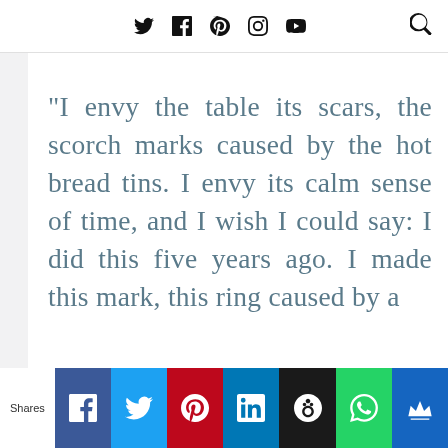Social media navigation icons and search
“I envy the table its scars, the scorch marks caused by the hot bread tins. I envy its calm sense of time, and I wish I could say: I did this five years ago. I made this mark, this ring caused by a
Shares [Facebook] [Twitter] [Pinterest] [LinkedIn] [Hootsuite] [WhatsApp] [Crown]